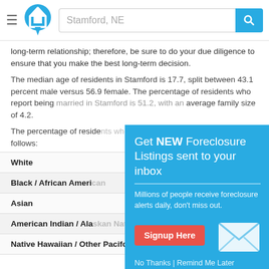Stamford, NE — navigation bar with logo and search
long-term relationship; therefore, be sure to do your due diligence to ensure that you make the best long-term decision.
The median age of residents in Stamford is 17.7, split between 43.1 percent male versus 56.9 female. The percentage of residents who report being married in Stamford is 51.2, with an average family size of 4.2.
The percentage of residents who report their race in Stamford is as follows:
| Race | Percentage |
| --- | --- |
| White |  |
| Black / African American |  |
| Asian |  |
| American Indian / Alaskan Native |  |
| Native Hawaiian / Other Pacifc Islander | 0% |
[Figure (infographic): Popup overlay: Get NEW Foreclosure Listings sent to your inbox. Millions of people receive foreclosure alerts daily, don't miss out. Signup Here button. No Thanks | Remind Me Later. Envelope icon graphic.]